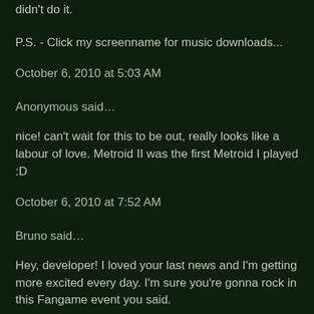didn't do it.
P.S. - Click my screenname for music downloads...
October 6, 2010 at 5:03 AM
Anonymous said...
nice! can't wait for this to be out, really looks like a labour of love. Metroid II was the first Metroid I played :D
October 6, 2010 at 7:52 AM
Bruno said...
Hey, developer! I loved your last news and I'm getting more excited every day. I'm sure you're gonna rock in this Fangame event you said.
About the musics, it was good that you mentioned them. A music I love from the original Metroid 2 is the last room before the